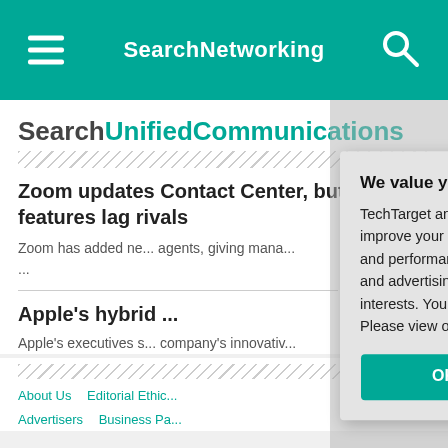SearchNetworking
SearchUnifiedCommunications
Zoom updates Contact Center, but features lag rivals
Zoom has added ne... agents, giving mana... ...
Apple's hybrid ...
Apple's executives s... company's innovativ...
We value your privacy. TechTarget and its partners employ cookies to improve your experience on our site, to analyze traffic and performance, and to serve personalized content and advertising that are relevant to your professional interests. You can manage your settings at any time. Please view our Privacy Policy for more information
About Us  Editorial Ethic...  Advertisers  Business Pa...